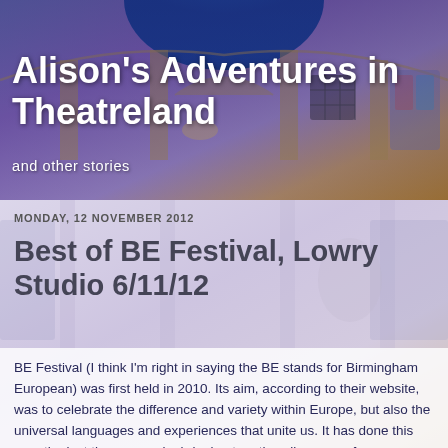[Figure (photo): Interior of an ornate theatre or hall with a blue-lit domed ceiling, elaborate gilded decorations, stained glass windows, and chandeliers, viewed from below at an angle.]
Alison's Adventures in Theatreland
and other stories
MONDAY, 12 NOVEMBER 2012
Best of BE Festival, Lowry Studio 6/11/12
BE Festival (I think I'm right in saying the BE stands for Birmingham European) was first held in 2010. Its aim, according to their website, was to celebrate the difference and variety within Europe, but also the universal languages and experiences that unite us. It has done this over the last three years by bringing together diverse performances from